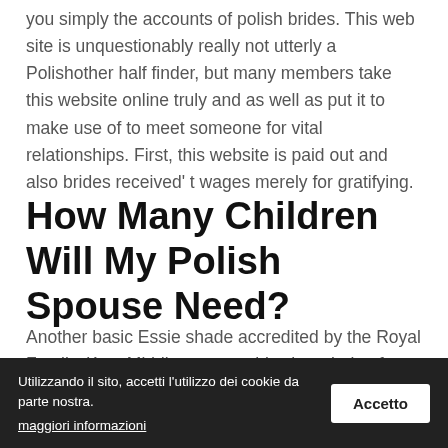you simply the accounts of polish brides. This web site is unquestionably really not utterly a Polishother half finder, but many members take this website online truly and as well as put it to make use of to meet someone for vital relationships. First, this website is paid out and also brides received' t wages merely for gratifying.
How Many Children Will My Polish Spouse Need?
Another basic Essie shade accredited by the Royal Family, Kate Middleton wore this sheer beige for her nuptials. Her many shades are also the best choice for a British polish brand, that they mix and match properly with other shades. Ideal for any bride going for a natural look, this barely-there shade is gentle
Utilizzando il sito, accetti l'utilizzo dei cookie da parte nostra. maggiori informazioni